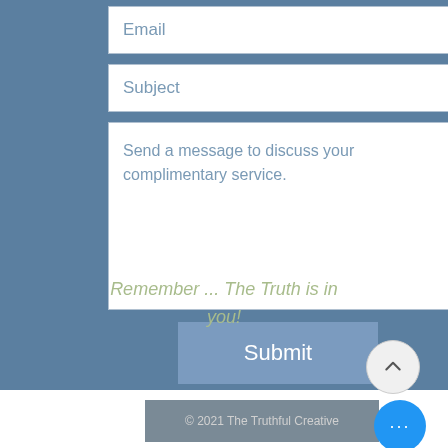Email
Subject
Send a message to discuss your complimentary service.
Submit
Remember ... The Truth is in you!
© 2021 The Truthful Creative